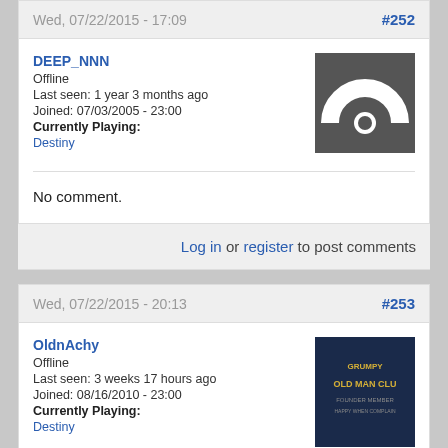Wed, 07/22/2015 - 17:09   #252
DEEP_NNN
Offline
Last seen: 1 year 3 months ago
Joined: 07/03/2005 - 23:00
Currently Playing:
Destiny
[Figure (illustration): User avatar: dark gray square with a white arc/rainbow shape and circle below it on gray background]
No comment.
Log in or register to post comments
Wed, 07/22/2015 - 20:13   #253
OldnAchy
Offline
Last seen: 3 weeks 17 hours ago
Joined: 08/16/2010 - 23:00
Currently Playing:
Destiny
[Figure (photo): Photo of dark navy blue hat with gold text reading GRUMPY OLD MAN CLUB FOUNDER MEMBER HAPPY WHEN COMPLAINING]